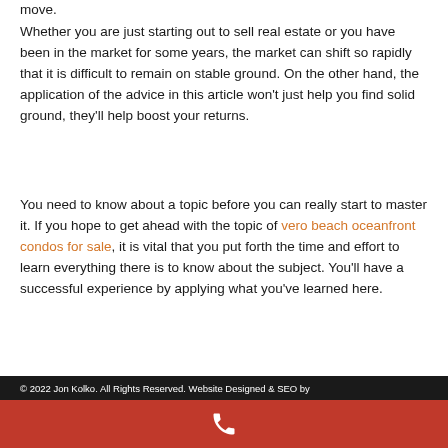move.
Whether you are just starting out to sell real estate or you have been in the market for some years, the market can shift so rapidly that it is difficult to remain on stable ground. On the other hand, the application of the advice in this article won't just help you find solid ground, they'll help boost your returns.
You need to know about a topic before you can really start to master it. If you hope to get ahead with the topic of vero beach oceanfront condos for sale, it is vital that you put forth the time and effort to learn everything there is to know about the subject. You'll have a successful experience by applying what you've learned here.
Posted in Vero Beach Oceanfront Condos for sale and tagged potential buyers, sell real estate
© 2022 Jon Kolko. All Rights Reserved. Website Designed & SEO by...